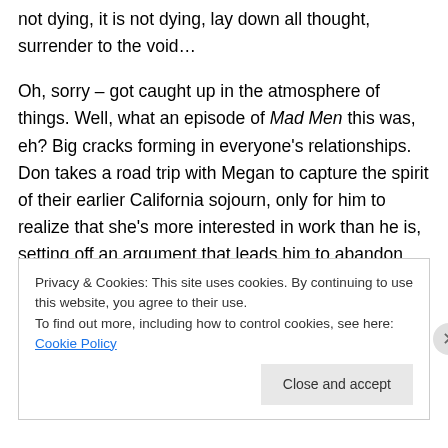not dying, it is not dying, lay down all thought, surrender to the void…

Oh, sorry – got caught up in the atmosphere of things. Well, what an episode of Mad Men this was, eh? Big cracks forming in everyone's relationships. Don takes a road trip with Megan to capture the spirit of their earlier California sojourn, only for him to realize that she's more interested in work than he is, setting off an argument that leads him to abandon her in a Howard Johnson's parking lot. Roger Sterling takes acid in the presence of none
Privacy & Cookies: This site uses cookies. By continuing to use this website, you agree to their use.
To find out more, including how to control cookies, see here: Cookie Policy